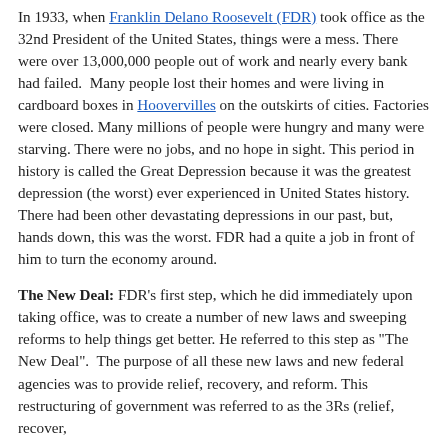In 1933, when Franklin Delano Roosevelt (FDR) took office as the 32nd President of the United States, things were a mess. There were over 13,000,000 people out of work and nearly every bank had failed. Many people lost their homes and were living in cardboard boxes in Hoovervilles on the outskirts of cities. Factories were closed. Many millions of people were hungry and many were starving. There were no jobs, and no hope in sight. This period in history is called the Great Depression because it was the greatest depression (the worst) ever experienced in United States history. There had been other devastating depressions in our past, but, hands down, this was the worst. FDR had a quite a job in front of him to turn the economy around.
The New Deal: FDR's first step, which he did immediately upon taking office, was to create a number of new laws and sweeping reforms to help things get better. He referred to this step as "The New Deal". The purpose of all these new laws and new federal agencies was to provide relief, recovery, and reform. This restructuring of government was referred to as the 3Rs (relief, recover,